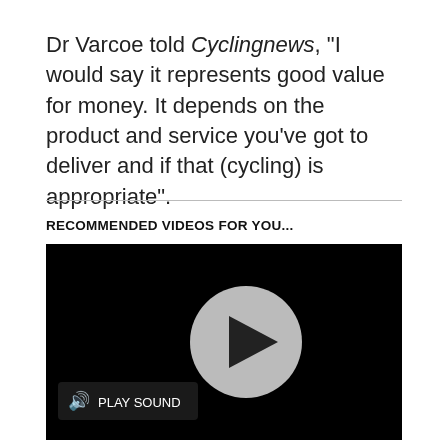Dr Varcoe told Cyclingnews, "I would say it represents good value for money. It depends on the product and service you've got to deliver and if that (cycling) is appropriate".
RECOMMENDED VIDEOS FOR YOU...
[Figure (screenshot): Black video player with a large grey circular play button in the center and a 'PLAY SOUND' button with speaker icon in the lower left.]